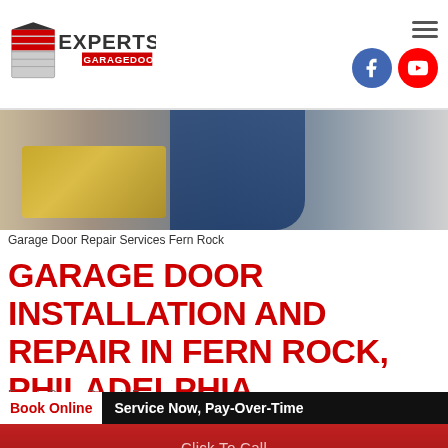[Figure (logo): Experts Garage Doors logo with garage door icon, Facebook and YouTube social icons, and hamburger menu]
[Figure (photo): Technician in blue uniform kneeling near a white garage door with a yellow tool bag nearby]
Garage Door Repair Services Fern Rock
GARAGE DOOR INSTALLATION AND REPAIR IN FERN ROCK, PHILADELPHIA
Experts Garage Doors in Fern Rock, Philadelphia provides high-quality
Book Online
Service Now, Pay-Over-Time
Click To Call
267-662-2134